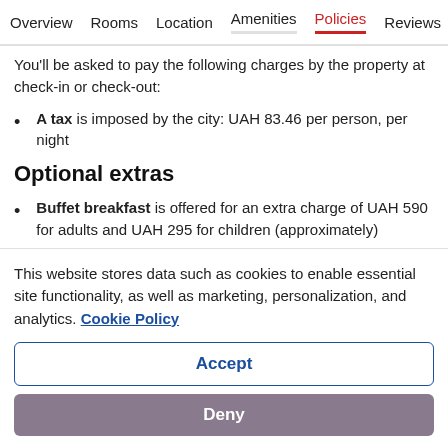Overview  Rooms  Location  Amenities  Policies  Reviews
You'll be asked to pay the following charges by the property at check-in or check-out:
A tax is imposed by the city: UAH 83.46 per person, per night
Optional extras
Buffet breakfast is offered for an extra charge of UAH 590 for adults and UAH 295 for children (approximately)
Airport shuttle service is offered for an extra charge of UAH …
This website stores data such as cookies to enable essential site functionality, as well as marketing, personalization, and analytics. Cookie Policy
Accept
Deny